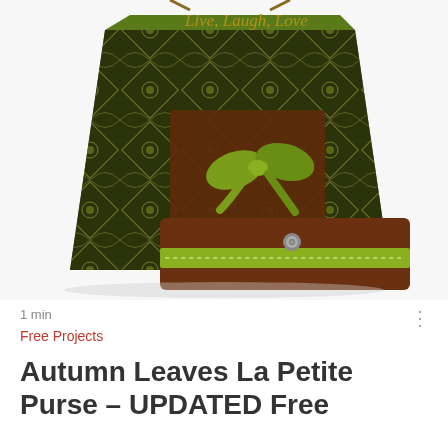[Figure (photo): Photo of two handmade fabric purses in autumn colors — a large tote bag with green velvet top panel embroidered with 'Live, Laugh, Love' in gold script, patterned fabric body in green/black/gold, and a brown fabric clutch wallet with green ribbon trim and bow, placed in front of the tote.]
1 min
Free Projects
Autumn Leaves La Petite Purse – UPDATED Free